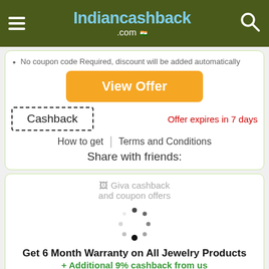Indiancashback.com
No coupon code Required, discount will be added automatically
View Offer
Cashback | Offer expires in 7 days
How to get | Terms and Conditions
Share with friends:
[Figure (illustration): Giva cashback and coupon offers placeholder image with loading spinner]
Get 6 Month Warranty on All Jewelry Products
+ Additional 9% cashback from us
No coupon code Required, discount will be added automatically